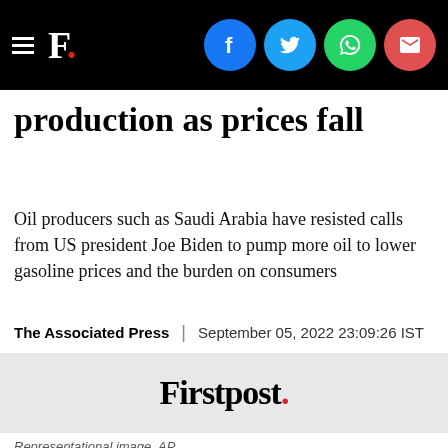Firstpost. [social icons: Facebook, Twitter, WhatsApp, Email]
production as prices fall
Oil producers such as Saudi Arabia have resisted calls from US president Joe Biden to pump more oil to lower gasoline prices and the burden on consumers
The Associated Press | September 05, 2022 23:09:26 IST
[Figure (logo): Firstpost logo — black serif wordmark with a red period at the end, on a light grey background]
Representational image. AP